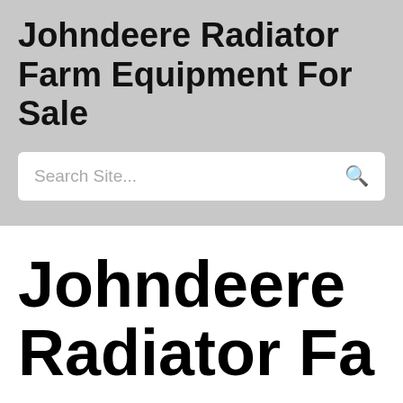Johndeere Radiator Farm Equipment For Sale
Search Site...
Johndeere Radiator Fa...